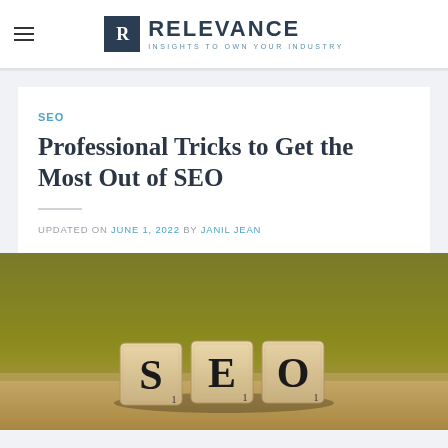[Figure (logo): Relevance logo with hamburger menu icon. R icon box in dark navy, RELEVANCE text in bold uppercase, tagline INSIGHTS TO OWN YOUR INDUSTRY in teal small caps.]
SEO
Professional Tricks to Get the Most Out of SEO
UPDATED ON JUNE 1, 2022 BY JANIL JEAN
[Figure (photo): Close-up photo of three wooden Scrabble tiles spelling S, E, O on a warm golden-olive background.]